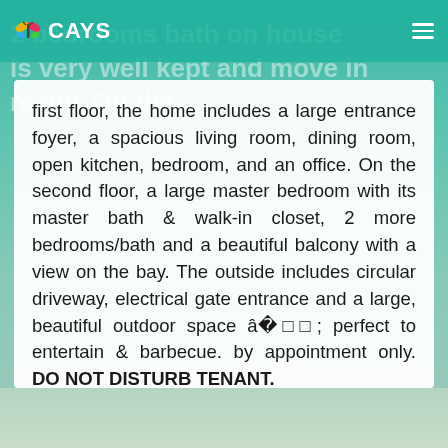CAYS
2 bedrooms bath on house is very well kept and move in ready. On the first floor, the home includes a large entrance foyer, a spacious living room, dining room, open kitchen, bedroom, and an office. On the second floor, a large master bedroom with its master bath & walk-in closet, 2 more bedrooms/bath and a beautiful balcony with a view on the bay. The outside includes circular driveway, electrical gate entrance and a large, beautiful outdoor space âàé perfect to entertain & barbecue. by appointment only. DO NOT DISTURB TENANT.